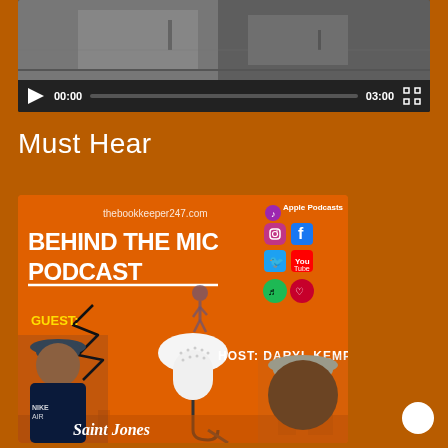[Figure (screenshot): Video player with dark background showing a thumbnail of a skate video. Controls bar shows play button, time 00:00, progress bar, end time 03:00, and fullscreen button.]
Must Hear
[Figure (photo): Behind The Mic Podcast promotional image on orange background. Shows 'thebookkeeper247.com', 'BEHIND THE MIC PODCAST' in bold white text, social media icons (Apple Podcasts, Instagram, Facebook, Twitter, YouTube, Spotify, iHeartRadio), a microphone graphic, guest Saint Jones (man in Nike Air shirt and cap) and Host Daryl Kemp (man in gray cap).]